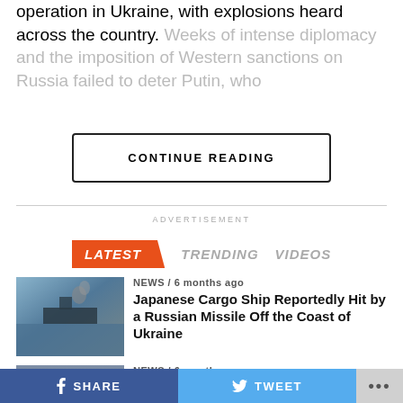operation in Ukraine, with explosions heard across the country. Weeks of intense diplomacy and the imposition of Western sanctions on Russia failed to deter Putin, who
CONTINUE READING
ADVERTISEMENT
LATEST   TRENDING   VIDEOS
NEWS / 6 months ago
Japanese Cargo Ship Reportedly Hit by a Russian Missile Off the Coast of Ukraine
[Figure (photo): Photo of a ship on water with smoke]
NEWS / 6 months ago
Patriotism: Two Ukrainian Kids Seen Paying Respect To The Troop [PHOTO]
[Figure (photo): Photo of people outdoors]
SHARE   TWEET   ...